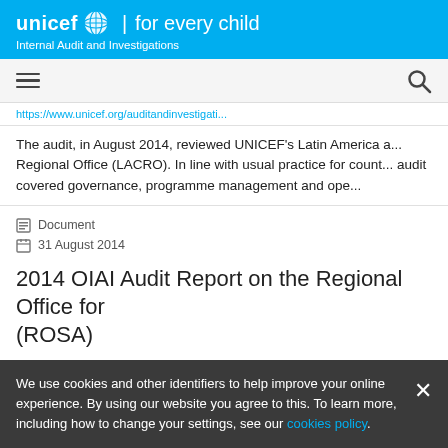unicef for every child — Internal Audit and Investigations
https://www.unicef.org/auditandinvestigati...
The audit, in August 2014, reviewed UNICEF's Latin America a... Regional Office (LACRO). In line with usual practice for count... audit covered governance, programme management and ope...
Document
31 August 2014
2014 OIAI Audit Report on the Regional Office for (ROSA)
We use cookies and other identifiers to help improve your online experience. By using our website you agree to this. To learn more, including how to change your settings, see our cookies policy.